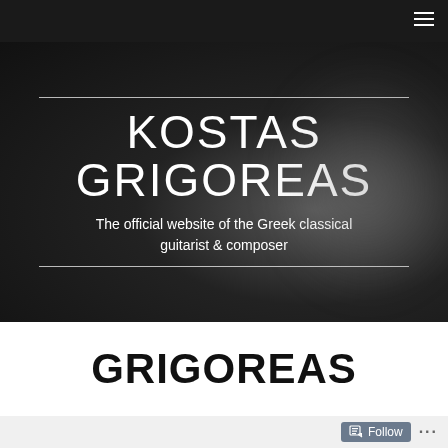Navigation bar with menu icon
KOSTAS GRIGOREAS
The official website of the Greek classical guitarist & composer
GRIGOREAS
Follow ...